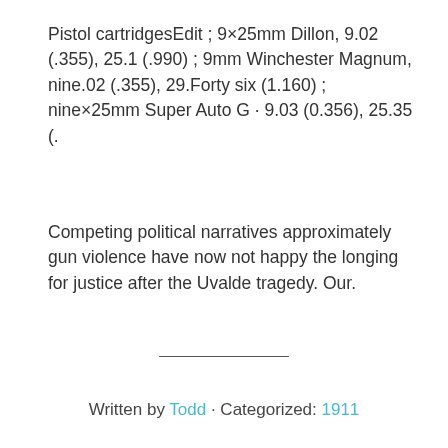Pistol cartridgesEdit ; 9×25mm Dillon, 9.02 (.355), 25.1 (.990) ; 9mm Winchester Magnum, nine.02 (.355), 29.Forty six (1.160) ; nine×25mm Super Auto G · 9.03 (0.356), 25.35 (.
Competing political narratives approximately gun violence have now not happy the longing for justice after the Uvalde tragedy. Our.
Written by Todd · Categorized: 1911